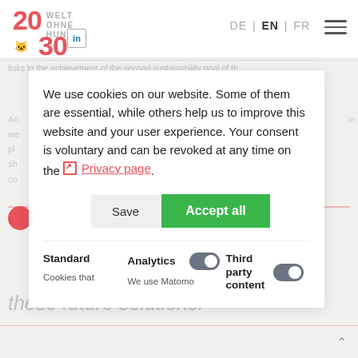20 WELT OHNE HUNGER 30 | LinkedIn icon | DE | EN | FR | menu
We use cookies on our website. Some of them are essential, while others help us to improve this website and your user experience. Your consent is voluntary and can be revoked at any time on the Privacy page.
Save | Accept all
Standard — Cookies that | Analytics (toggle off) — We use Matomo | Third party content (toggle off)
these future solutions.'